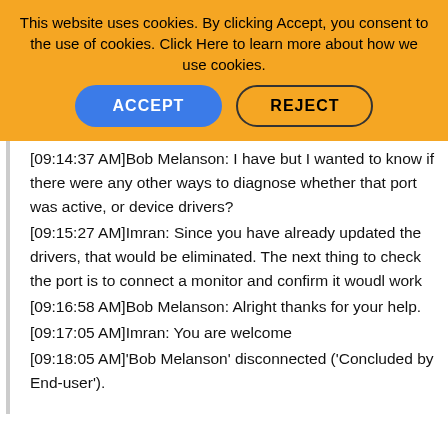This website uses cookies. By clicking Accept, you consent to the use of cookies. Click Here to learn more about how we use cookies.
ACCEPT | REJECT
[09:14:37 AM]Bob Melanson: I have but I wanted to know if there were any other ways to diagnose whether that port was active, or device drivers?
[09:15:27 AM]Imran: Since you have already updated the drivers, that would be eliminated. The next thing to check the port is to connect a monitor and confirm it woudl work
[09:16:58 AM]Bob Melanson: Alright thanks for your help.
[09:17:05 AM]Imran: You are welcome
[09:18:05 AM]'Bob Melanson' disconnected ('Concluded by End-user').